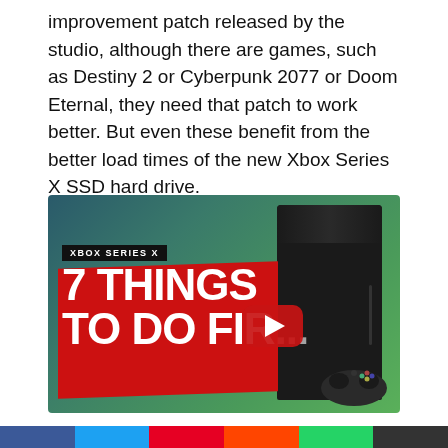improvement patch released by the studio, although there are games, such as Destiny 2 or Cyberpunk 2077 or Doom Eternal, they need that patch to work better. But even these benefit from the better load times of the new Xbox Series X SSD hard drive.
[Figure (screenshot): YouTube video thumbnail showing Xbox Series X console with red banner reading 'XBOX SERIES X / 7 THINGS / TO DO FIR...' with a YouTube play button overlay]
[Figure (infographic): Social media share buttons row at the bottom of the page (Facebook, Twitter, Pinterest, and others)]